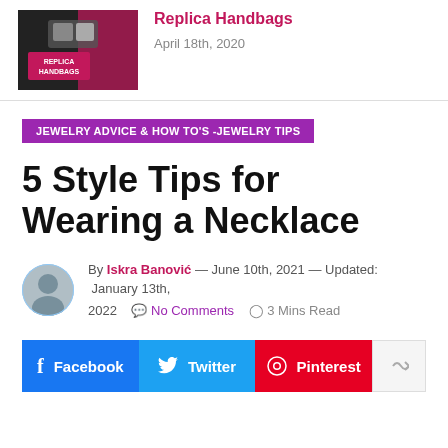[Figure (photo): Thumbnail image showing replica handbags with pink background and text 'REPLICA HANDBAGS']
Replica Handbags
April 18th, 2020
JEWELRY ADVICE & HOW TO'S - JEWELRY TIPS
5 Style Tips for Wearing a Necklace
[Figure (photo): Author avatar photo of Iskra Banović]
By Iskra Banović — June 10th, 2021 — Updated: January 13th, 2022
No Comments  3 Mins Read